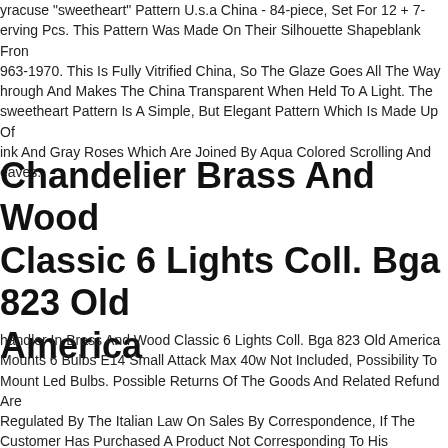yracuse "sweetheart" Pattern U.s.a China - 84-piece, Set For 12 + 7-erving Pcs. This Pattern Was Made On Their Silhouette Shapeblank From 963-1970. This Is Fully Vitrified China, So The Glaze Goes All The Way hrough And Makes The China Transparent When Held To A Light. The sweetheart Pattern Is A Simple, But Elegant Pattern Which Is Made Up Of ink And Gray Roses Which Are Joined By Aqua Colored Scrolling And eaves.
Chandelier Brass And Wood Classic 6 Lights Coll. Bga 823 Old America
handler In Brass And Wood Classic 6 Lights Coll. Bga 823 Old America Mounts 6 Bulbs E14 Small Attack Max 40w Not Included, Possibility To Mount Led Bulbs. Possible Returns Of The Goods And Related Refund Are Regulated By The Italian Law On Sales By Correspondence, If The Customer Has Purchased A Product Not Corresponding To His Expectations And Not Conforming To The Description Date Of Delivery Has 4 Days Of Delivery. To Exercise The "right Of Withdrawal", Or The Possibility Of Returning The Product Communicating Its Intention By corresponded With Providing Of Return With The Procedure The C...